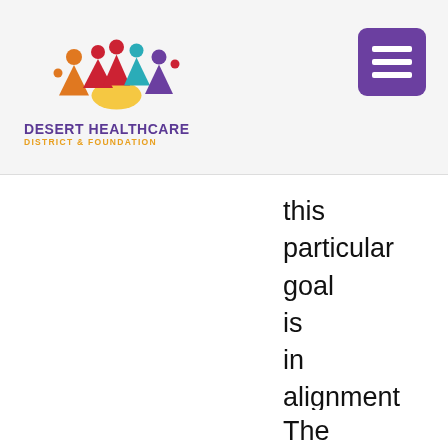Desert Healthcare District & Foundation
this particular goal is in alignment with work the District was already doing.
The